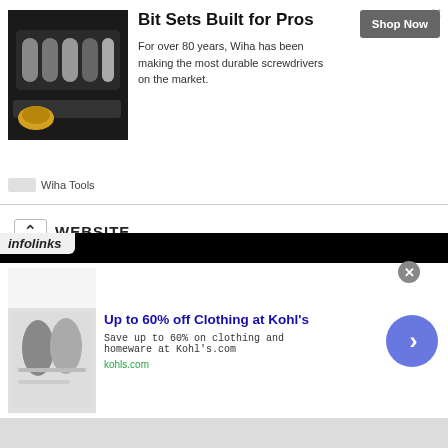[Figure (screenshot): Top advertisement banner for Wiha Tools featuring bit sets, with image of screwdriver bits, title 'Bit Sets Built for Pros', description text, and Shop Now button]
WEBSITE
Save my name, email, and website in this browser for the next time I comment.
POST COMMENT
[Figure (screenshot): Infolinks advertisement banner for Kohl's: 'Up to 60% off Clothing at Kohl's' with image of people in clothing, description text, kohls.com domain, navigation arrow button]